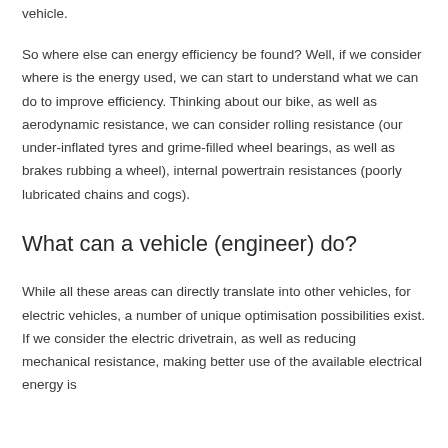vehicle.
So where else can energy efficiency be found? Well, if we consider where is the energy used, we can start to understand what we can do to improve efficiency. Thinking about our bike, as well as aerodynamic resistance, we can consider rolling resistance (our under-inflated tyres and grime-filled wheel bearings, as well as brakes rubbing a wheel), internal powertrain resistances (poorly lubricated chains and cogs).
What can a vehicle (engineer) do?
While all these areas can directly translate into other vehicles, for electric vehicles, a number of unique optimisation possibilities exist. If we consider the electric drivetrain, as well as reducing mechanical resistance, making better use of the available electrical energy is